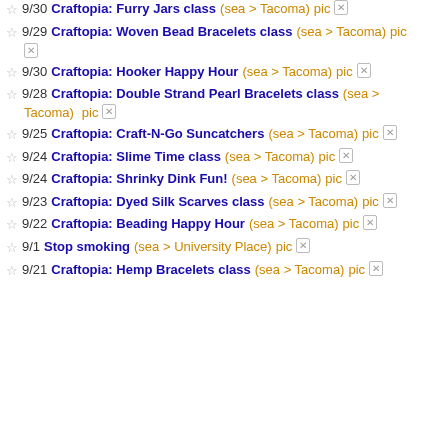9/30 Craftopia: Furry Jars class (sea > Tacoma) pic [x]
9/29 Craftopia: Woven Bead Bracelets class (sea > Tacoma) pic [x]
9/30 Craftopia: Hooker Happy Hour (sea > Tacoma) pic [x]
9/28 Craftopia: Double Strand Pearl Bracelets class (sea > Tacoma) pic [x]
9/25 Craftopia: Craft-N-Go Suncatchers (sea > Tacoma) pic [x]
9/24 Craftopia: Slime Time class (sea > Tacoma) pic [x]
9/24 Craftopia: Shrinky Dink Fun! (sea > Tacoma) pic [x]
9/23 Craftopia: Dyed Silk Scarves class (sea > Tacoma) pic [x]
9/22 Craftopia: Beading Happy Hour (sea > Tacoma) pic [x]
9/1 Stop smoking (sea > University Place) pic [x]
9/21 Craftopia: Hemp Bracelets class (sea > Tacoma) pic [x]